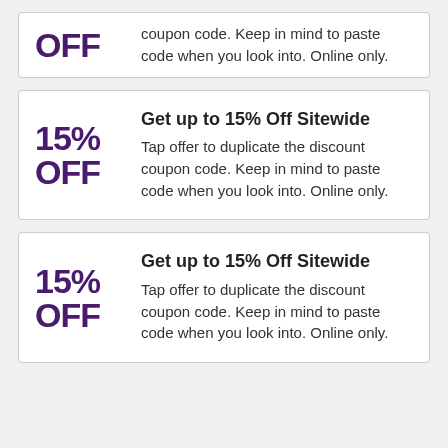OFF
coupon code. Keep in mind to paste code when you look into. Online only.
Get up to 15% Off Sitewide
15% OFF
Tap offer to duplicate the discount coupon code. Keep in mind to paste code when you look into. Online only.
Get up to 15% Off Sitewide
15% OFF
Tap offer to duplicate the discount coupon code. Keep in mind to paste code when you look into. Online only.